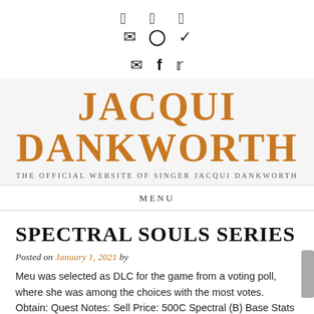✉ ⓕ 🐦
Jacqui Dankworth
THE OFFICIAL WEBSITE OF SINGER JACQUI DANKWORTH
MENU
SPECTRAL SOULS SERIES
Posted on January 1, 2021 by
Meu was selected as DLC for the game from a voting poll, where she was among the choices with the most votes. Obtain: Quest Notes: Sell Price: 500C Spectral (B) Base Stats 0 0 50 -15 0 10 0 0 25 0 Elemental Resistance 5% 0% 0% 0% Description: This Processor Unit is a universal fit!